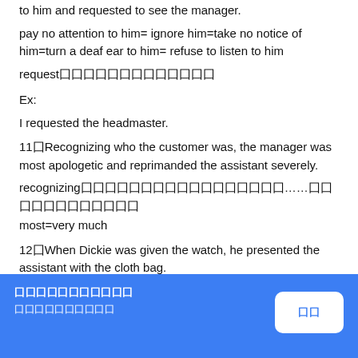to him and requested to see the manager.
pay no attention to him= ignore him=take no notice of him=turn a deaf ear to him= refuse to listen to him
request囗囗囗囗囗囗囗囗囗囗囗囗囗
Ex:
I requested the headmaster.
11囗Recognizing who the customer was, the manager was most apologetic and reprimanded the assistant severely.
recognizing囗囗囗囗囗囗囗囗囗囗囗囗囗囗囗囗囗……囗囗囗囗囗囗囗囗囗囗囗囗
most=very much
12囗When Dickie was given the watch, he presented the assistant with the cloth bag.
hand sb sth /hand sth to sb囗囗…囗囗…
囗囗囗囗囗囗囗囗囗囗囗 囗囗囗囗囗囗囗囗囗囗 囗囗